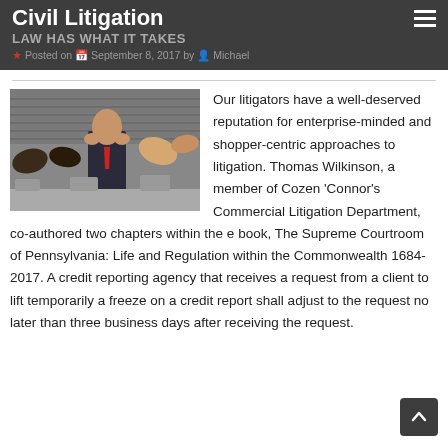Civil Litigation
LAW HAS WHAT IT TAKES
Posted on September 8, 2017 by Michael
[Figure (photo): A stressed man in a suit sitting in a classroom or conference room with his hands on his temples, surrounded by people with their heads down on desks.]
Our litigators have a well-deserved reputation for enterprise-minded and shopper-centric approaches to litigation. Thomas Wilkinson, a member of Cozen ‘Connor’s Commercial Litigation Department, co-authored two chapters within the e book, The Supreme Courtroom of Pennsylvania: Life and Regulation within the Commonwealth 1684-2017. A credit reporting agency that receives a request from a client to lift temporarily a freeze on a credit report shall adjust to the request no later than three business days after receiving the request.